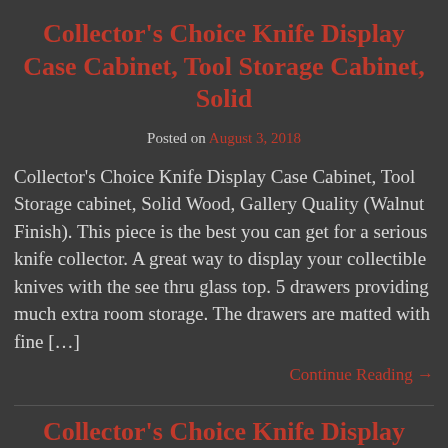Collector’s Choice Knife Display Case Cabinet, Tool Storage Cabinet, Solid
Posted on August 3, 2018
Collector's Choice Knife Display Case Cabinet, Tool Storage cabinet, Solid Wood, Gallery Quality (Walnut Finish). This piece is the best you can get for a serious knife collector. A great way to display your collectible knives with the see thru glass top. 5 drawers providing much extra room storage. The drawers are matted with fine […]
Continue Reading →
Collector’s Choice Knife Display Case